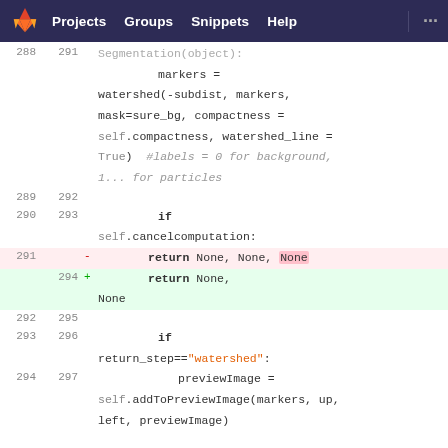GitLab navigation bar with Projects, Groups, Snippets, Help links
[Figure (screenshot): GitLab diff view showing code changes in a Python file. Lines 288-294 (old) and 291-297 (new) showing watershed segmentation code. Line 291 (old, red) removed 'return None, None, None' and line 294 (new, green) added 'return None, None'. Surrounding context shows if self.cancelcomputation block and if return_step=='watershed' block.]